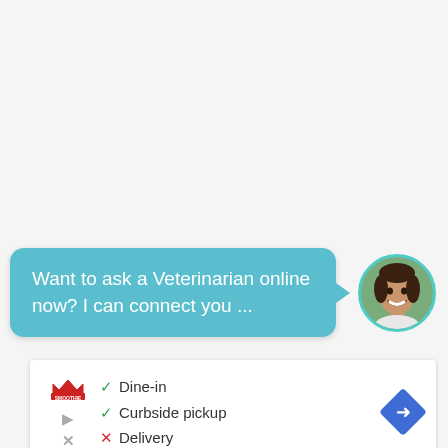Want to ask a Veterinarian online now? I can connect you ...
[Figure (photo): Circular avatar photo of a smiling woman with dark hair, with a teal border]
[Figure (logo): Smoothie King logo]
✓ Dine-in
✓ Curbside pickup
✗ Delivery